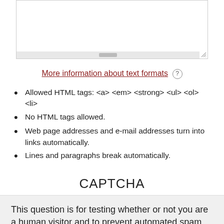[Figure (screenshot): Textarea input box with scrollbar at bottom and resize handle at bottom-right corner]
More information about text formats ?
Allowed HTML tags: <a> <em> <strong> <ul> <ol> <li>
No HTML tags allowed.
Web page addresses and e-mail addresses turn into links automatically.
Lines and paragraphs break automatically.
CAPTCHA
This question is for testing whether or not you are a human visitor and to prevent automated spam.